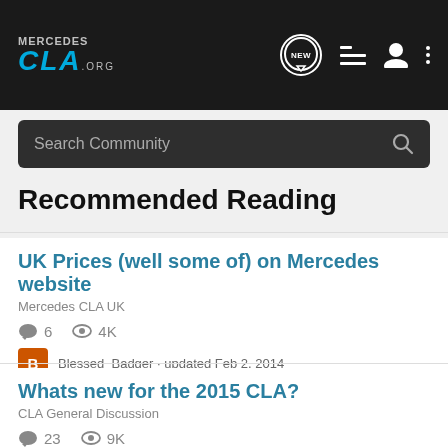[Figure (logo): Mercedes CLA.org logo in white and cyan on dark background]
Search Community
Recommended Reading
UK Prices (well some of) on Mercedes website
Mercedes CLA UK
6   4K
Blessed_Badger · updated Feb 2, 2014
Whats new for the 2015 CLA?
CLA General Discussion
23   9K
smithdrs · updated May 26, 2014